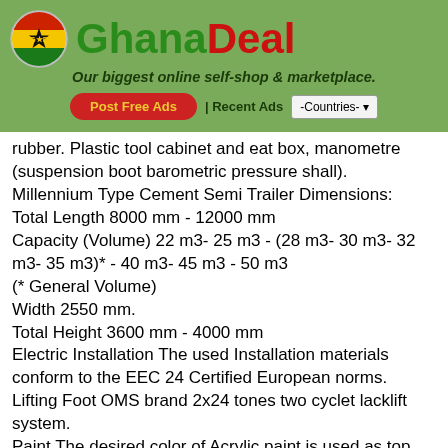GhanaDeal - Our biggest online self-shop & marketplace.
rubber. Plastic tool cabinet and eat box, manometre (suspension boot barometric pressure shall). Millennium Type Cement Semi Trailer Dimensions: Total Length 8000 mm - 12000 mm Capacity (Volume) 22 m3- 25 m3 - (28 m3- 30 m3- 32 m3- 35 m3)* - 40 m3- 45 m3 - 50 m3 (* General Volume) Width 2550 mm. Total Height 3600 mm - 4000 mm Electric Installation The used Installation materials conform to the EEC 24 Certified European norms. Lifting Foot OMS brand 2x24 tones two cyclet lacklift system. Paint The desired color of Acrylic paint is used as top coat over two layered epoxy. King Pin 2"or 3,5" flanged bolts, resistant to high degrees of tension brakes, produced from forged steel. Easy to change